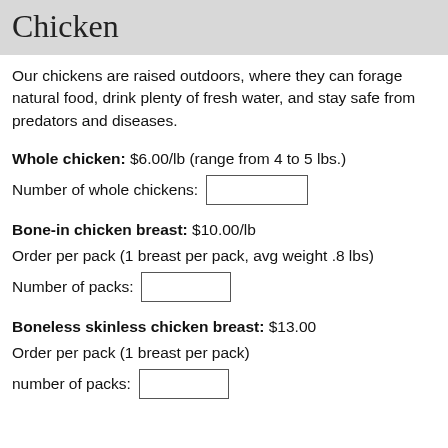Chicken
Our chickens are raised outdoors, where they can forage natural food, drink plenty of fresh water, and stay safe from predators and diseases.
Whole chicken: $6.00/lb (range from 4 to 5 lbs.)
Number of whole chickens: [input]
Bone-in chicken breast: $10.00/lb
Order per pack (1 breast per pack, avg weight .8 lbs)
Number of packs: [input]
Boneless skinless chicken breast: $13.00
Order per pack (1 breast per pack)
number of packs: [input]